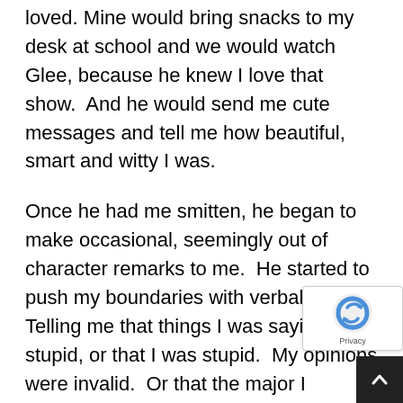loved. Mine would bring snacks to my desk at school and we would watch Glee, because he knew I love that show.  And he would send me cute messages and tell me how beautiful, smart and witty I was.
Once he had me smitten, he began to make occasional, seemingly out of character remarks to me.  He started to push my boundaries with verbal abuse.  Telling me that things I was saying were stupid, or that I was stupid.  My opinions were invalid.  Or that the major I declared in college was dumb.  You name it, he said it.
It made me feel really insecure.  I began carefully selecting things to tell him.  Things that wouldn't make me look stupid to him.  Things that would a any conflict.  I felt like I was walking on eggshells, and